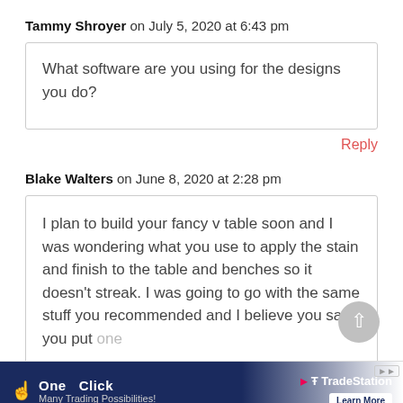Tammy Shroyer on July 5, 2020 at 6:43 pm
What software are you using for the designs you do?
Reply
Blake Walters on June 8, 2020 at 2:28 pm
I plan to build your fancy v table soon and I was wondering what you use to apply the stain and finish to the table and benches so it doesn't streak. I was going to go with the same stuff you recommended and I believe you said you put one coat of ... streak ... you.
[Figure (screenshot): Advertisement banner at the bottom: 'One Click - Many Trading Possibilities!' with TradeStation logo and 'Learn More' button.]